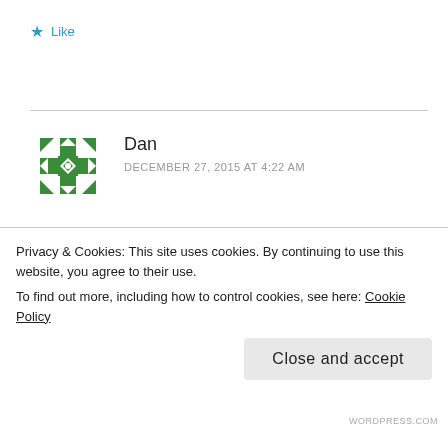★ Like
[Figure (illustration): Green geometric/quilt-pattern avatar icon for commenter Dan]
Dan
DECEMBER 27, 2015 AT 4:22 AM
Me, too. Raised as a . . . nothing (we knew we were Jewish, but that was the extent of it). But we always sat around the piano and sang Christmas carols. Yeah, even the religious ones
Privacy & Cookies: This site uses cookies. By continuing to use this website, you agree to their use.
To find out more, including how to control cookies, see here: Cookie Policy
Close and accept